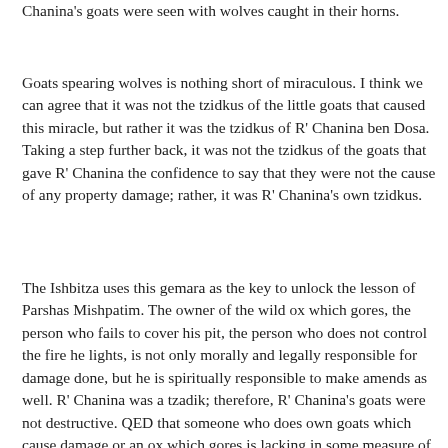Chanina's goats were seen with wolves caught in their horns.
Goats spearing wolves is nothing short of miraculous. I think we can agree that it was not the tzidkus of the little goats that caused this miracle, but rather it was the tzidkus of R' Chanina ben Dosa. Taking a step further back, it was not the tzidkus of the goats that gave R' Chanina the confidence to say that they were not the cause of any property damage; rather, it was R' Chanina's own tzidkus.
The Ishbitza uses this gemara as the key to unlock the lesson of Parshas Mishpatim. The owner of the wild ox which gores, the person who fails to cover his pit, the person who does not control the fire he lights, is not only morally and legally responsible for damage done, but he is spiritually responsible to make amends as well. R' Chanina was a tzadik; therefore, R' Chanina's goats were not destructive. QED that someone who does own goats which cause damage or an ox which gores is lacking in some measure of tzidkus. The concept of “ba’alus” is not just a legal construct, but has spiritual meaning as well, as all that comes into a